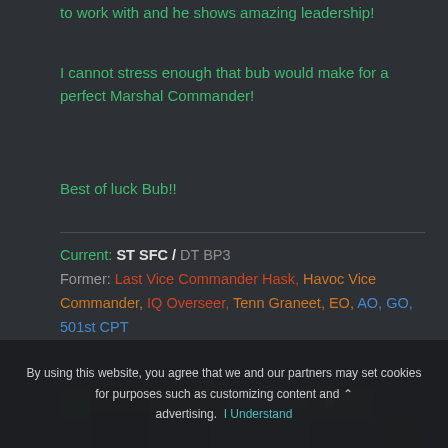to work with and he shows amazing leadership!
I cannot stress enough that bub would make for a perfect Marshal Commander!
Best of luck Bub!!
Current: ST SFC / DT BP3
Former: Last Vice Commander Hask, Havoc Vice Commander, IQ Overseer, Tenn Graneet, EO, AO, GO, 501st CPT
[Figure (photo): Dark photo showing Star Wars costumed characters outdoors, partially visible at bottom of page]
By using this website, you agree that we and our partners may set cookies for purposes such as customizing content and advertising. I Understand